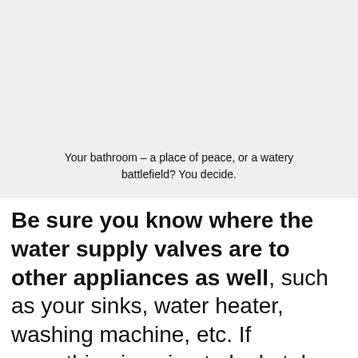[Figure (photo): Gray placeholder image of a bathroom scene]
Your bathroom – a place of peace, or a watery battlefield? You decide.
Be sure you know where the water supply valves are to other appliances as well, such as your sinks, water heater, washing machine, etc. If something is going to leak, take comfort in knowing you won't be dealing with what you will certainly find to be one of the b